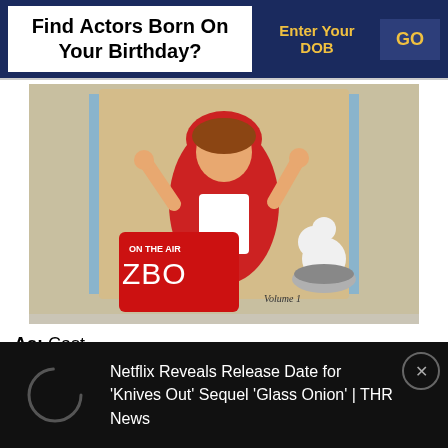Find Actors Born On Your Birthday?
Enter Your DOB  GO
[Figure (photo): A woman in a red outfit and hat posing with hands up, next to a white poodle eating from a bowl. A ZBO logo overlay visible on lower left. Caption text says Volume 1.]
As: Cast
Role: Bud Budwaller (7 episodes, 1992)
Netflix Reveals Release Date for 'Knives Out' Sequel 'Glass Onion' | THR News